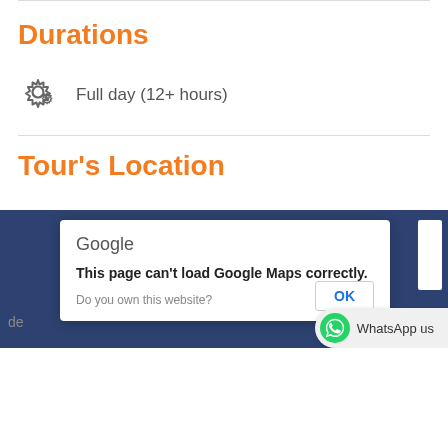Durations
Full day (12+ hours)
Tour's Location
[Figure (screenshot): Google Maps error dialog on a dark blue map background. Dialog reads: 'Google' at top, then 'This page can't load Google Maps correctly.' and 'Do you own this website?' with an OK button. WhatsApp us bar visible at bottom right.]